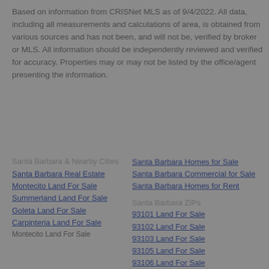Based on information from CRISNet MLS as of 9/4/2022. All data, including all measurements and calculations of area, is obtained from various sources and has not been, and will not be, verified by broker or MLS. All information should be independently reviewed and verified for accuracy. Properties may or may not be listed by the office/agent presenting the information.
Santa Barbara & Nearby Cities
Santa Barbara Real Estate
Montecito Land For Sale
Summerland Land For Sale
Goleta Land For Sale
Carpinteria Land For Sale
Santa Barbara Homes for Sale
Santa Barbara Commercial for Sale
Santa Barbara Homes for Rent
Santa Barbara ZIPs
93101 Land For Sale
93102 Land For Sale
93103 Land For Sale
93105 Land For Sale
93106 Land For Sale
93107 Land For Sale